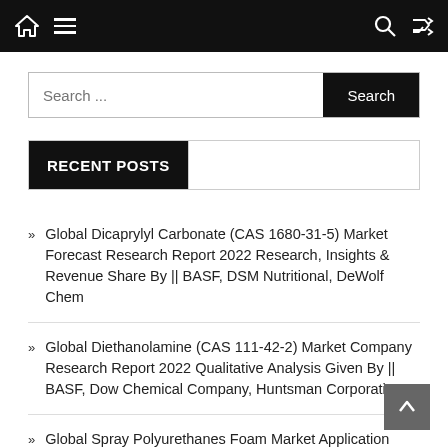Navigation bar with home icon, hamburger menu, search icon, and shuffle icon
Search ...
RECENT POSTS
Global Dicaprylyl Carbonate (CAS 1680-31-5) Market Forecast Research Report 2022 Research, Insights & Revenue Share By || BASF, DSM Nutritional, DeWolf Chem
Global Diethanolamine (CAS 111-42-2) Market Company Research Report 2022 Qualitative Analysis Given By || BASF, Dow Chemical Company, Huntsman Corporation
Global Spray Polyurethanes Foam Market Application Research Report 2022 Industry Research Forecasts Predicted By || BASF, Dow Chemical, Lapolla
Global Roofing Adhesives Market Type Research Report 2022...